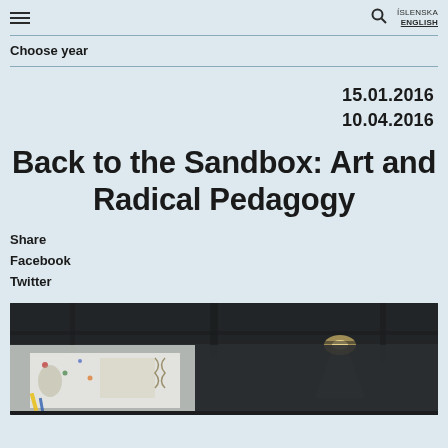≡  ÍSLENSKA ENGLISH
Choose year
15.01.2016
10.04.2016
Back to the Sandbox: Art and Radical Pedagogy
Share
Facebook
Twitter
[Figure (photo): Interior gallery space with white walls showing an exhibition with anatomical and scientific diagrams/illustrations, viewed from above with exposed ceiling and track lighting.]